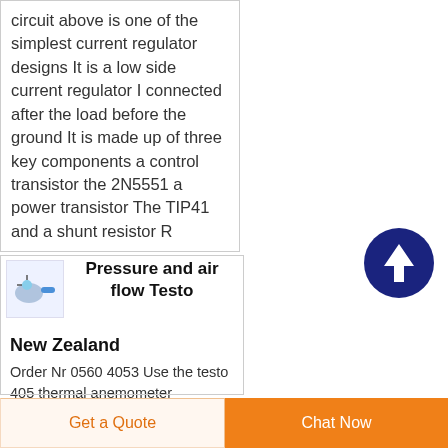circuit above is one of the simplest current regulator designs It is a low side current regulator I connected after the load before the ground It is made up of three key components a control transistor the 2N5551 a power transistor The TIP41 and a shunt resistor R
[Figure (other): Dark navy circular button with white upward arrow icon]
[Figure (illustration): Small product thumbnail showing a blue tool/instrument (anemometer)]
Pressure and air flow Testo
New Zealand
Order Nr 0560 4053 Use the testo 405 thermal anemometer
Get a Quote | Chat Now